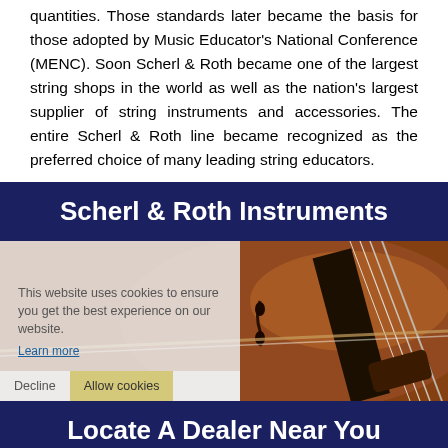quantities. Those standards later became the basis for those adopted by Music Educator's National Conference (MENC). Soon Scherl & Roth became one of the largest string shops in the world as well as the nation's largest supplier of string instruments and accessories. The entire Scherl & Roth line became recognized as the preferred choice of many leading string educators.
Scherl & Roth Instruments
[Figure (photo): Close-up photograph of a violin body showing the warm brown wood grain, f-holes, fingerboard, strings and bow. A cookie consent overlay is partially visible on the left side with text 'This website uses cookies to ensure you get the best experience on our website.' and a 'Learn more' link, along with Decline and Allow cookies buttons.]
Locate A Dealer Near You
[Figure (map): Partial view of a map showing roads and a location pin at the bottom of the page.]